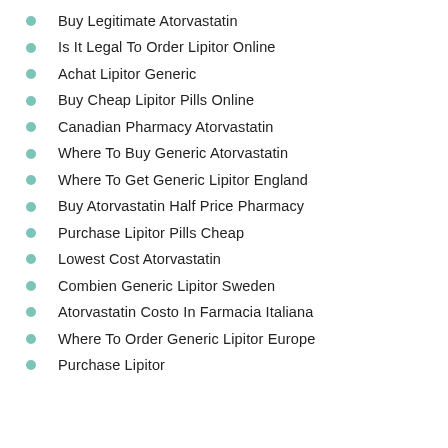Buy Legitimate Atorvastatin
Is It Legal To Order Lipitor Online
Achat Lipitor Generic
Buy Cheap Lipitor Pills Online
Canadian Pharmacy Atorvastatin
Where To Buy Generic Atorvastatin
Where To Get Generic Lipitor England
Buy Atorvastatin Half Price Pharmacy
Purchase Lipitor Pills Cheap
Lowest Cost Atorvastatin
Combien Generic Lipitor Sweden
Atorvastatin Costo In Farmacia Italiana
Where To Order Generic Lipitor Europe
Purchase Lipitor